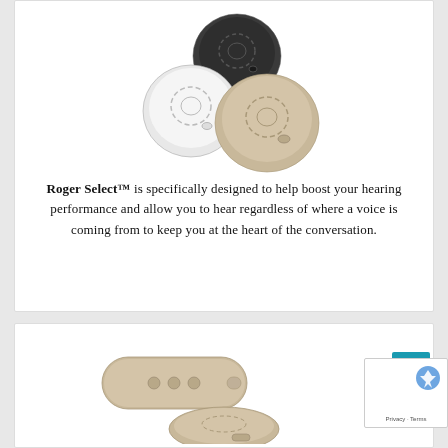[Figure (photo): Three Roger Select hearing microphone devices in different colors: dark gray/charcoal (top), white (left), and champagne/gold (right), shown from above at a slight angle.]
Roger Select™ is specifically designed to help boost your hearing performance and allow you to hear regardless of where a voice is coming from to keep you at the heart of the conversation.
[Figure (photo): Two Roger Select hearing microphone devices in champagne/gold color shown from a side angle: one elongated remote-style and one round puck-style device.]